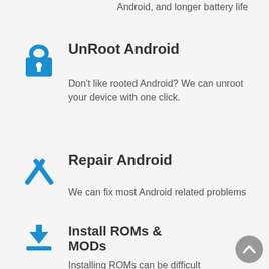Android, and longer battery life
UnRoot Android
Don't like rooted Android? We can unroot your device with one click.
Repair Android
We can fix most Android related problems
Install ROMs & MODs
Installing ROMs can be difficult